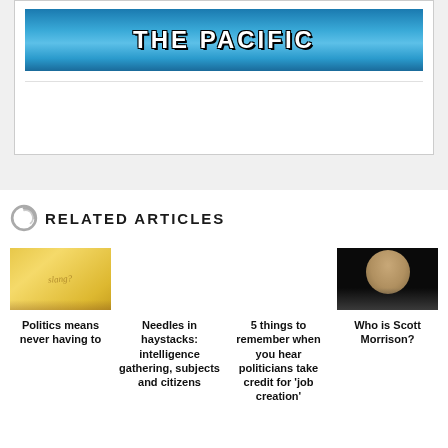[Figure (photo): Banner image with text THE PACIFIC on blue water background]
RELATED ARTICLES
[Figure (photo): Yellow sticky note on wooden surface]
Politics means never having to
Needles in haystacks: intelligence gathering, subjects and citizens
5 things to remember when you hear politicians take credit for 'job creation'
[Figure (photo): Portrait photo of Scott Morrison against dark background]
Who is Scott Morrison?